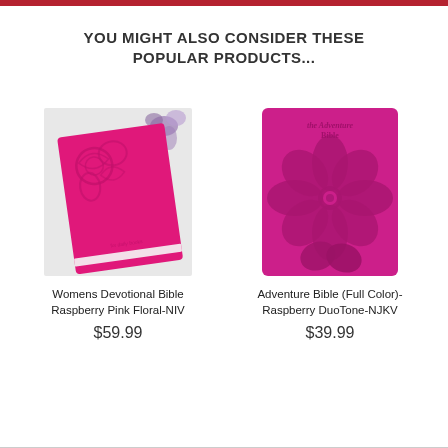YOU MIGHT ALSO CONSIDER THESE POPULAR PRODUCTS...
[Figure (photo): Pink floral-embossed cover of Womens Devotional Bible Raspberry Pink Floral-NIV lying on a white surface with purple flowers in background]
Womens Devotional Bible Raspberry Pink Floral-NIV
$59.99
[Figure (photo): Hot pink Adventure Bible with large hibiscus flower embossed on front cover, DuoTone edition]
Adventure Bible (Full Color)- Raspberry DuoTone-NJKV
$39.99